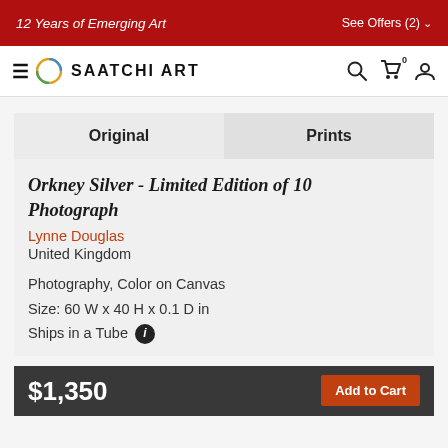12 Years of Emerging Art    See Offers (2)
[Figure (logo): Saatchi Art logo with navigation bar including hamburger menu, circular multicolor logo, SAATCHI ART wordmark, search icon, cart icon, and profile icon]
Orkney Silver - Limited Edition of 10 Photograph
Lynne Douglas
United Kingdom
Photography, Color on Canvas
Size: 60 W x 40 H x 0.1 D in
Ships in a Tube
$1,350